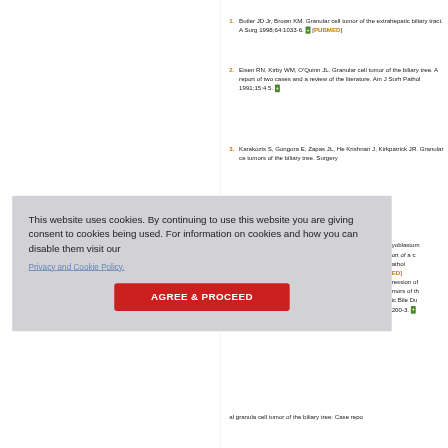1. Butler JD Jr, Brown KM. Granular cell tumor of the extrahepatic biliary tract. A Surg 1998;64:1033-6. [PUBMED]
2. Eisen RN, Kirby WM, O'Quinn JL. Granular cell tumor of the biliary tree. A report of two cases and a review of the literature. Am J Surh Pathol 1991;15:4 5.
3. Karakozis S, Gongora E, Zapas JL, He Krishnan J, Kirkpatrick JR. Granular ce tumors of the biliary tree. Surgery
yoblastom ort of a c athol ED] ression of mors of th ic Bile Du 200-3.
al granula cell tumor of the biliary tree: Case repo
This website uses cookies. By continuing to use this website you are giving consent to cookies being used. For information on cookies and how you can disable them visit our Privacy and Cookie Policy.
AGREE & PROCEED